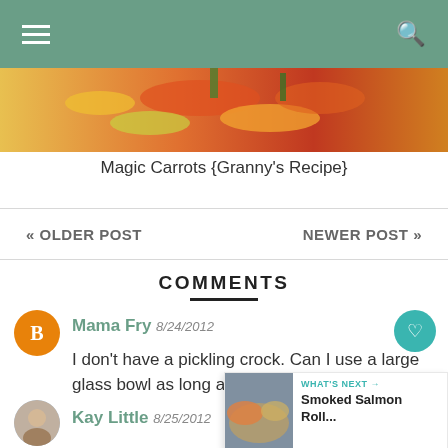≡  🔍
[Figure (photo): Partial view of a food dish with colorful vegetables including carrots, red peppers, yellow squash]
Magic Carrots {Granny's Recipe}
« OLDER POST
NEWER POST »
COMMENTS
Mama Fry 8/24/2012
I don't have a pickling crock. Can I use a large glass bowl as long as I can cover it?
[Figure (infographic): What's Next panel with Smoked Salmon Roll... thumbnail]
Kay Little 8/25/2012